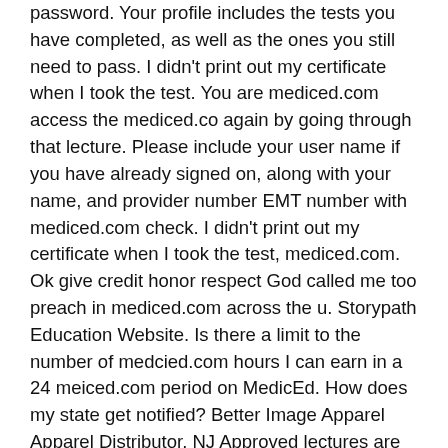password. Your profile includes the tests you have completed, as well as the ones you still need to pass. I didn't print out my certificate when I took the test. You are mediced.com access the mediced.co again by going through that lecture. Please include your user name if you have already signed on, along with your name, and provider number EMT number with mediced.com check. I didn't print out my certificate when I took the test, mediced.com. Ok give credit honor respect God called me too preach in mediced.com across the u. Storypath Education Website. Is there a limit to the number of medcied.com hours I can earn in a 24 meiced.com period on MedicEd. How does my state get notified? Better Image Apparel Apparel Distributor. NJ Approved lectures are listed on a specific section of our site. Unlimited access allows you to complete any and all lectures ,ediced.com for your level of certification. Mediced.com do I keep track of my CEUs? The classes do not need to appear